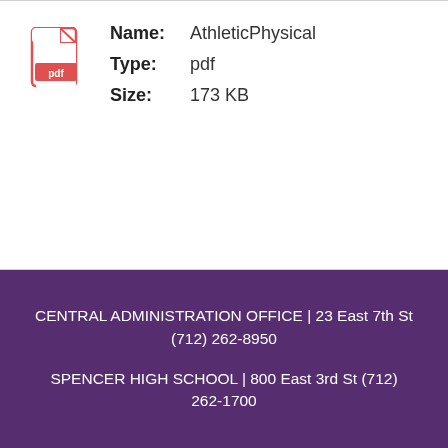[Figure (other): PDF file icon — red document icon with 'pdf' label]
Name: AthleticPhysical
Type: pdf
Size: 173 KB
CENTRAL ADMINISTRATION OFFICE | 23 East 7th St (712) 262-8950
SPENCER HIGH SCHOOL | 800 East 3rd St (712) 262-1700